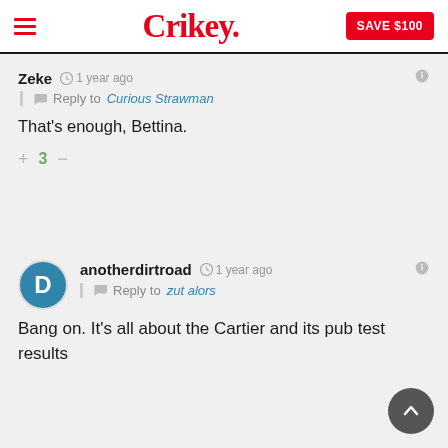Crikey. SAVE $100
Zeke · 1 year ago
Reply to Curious Strawman
That's enough, Bettina.
+ 3 −
anotherdirtroad · 1 year ago
Reply to zut alors
Bang on. It's all about the Cartier and its pub test results